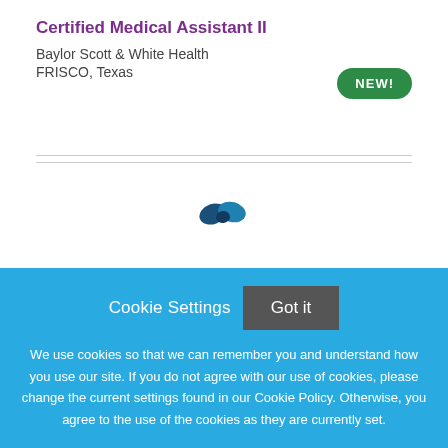Certified Medical Assistant II
Baylor Scott & White Health
FRISCO, Texas
[Figure (infographic): Green rounded badge/pill shape with text NEW! in white bold letters]
[Figure (logo): Blue and teal leaf/butterfly logo mark]
Cookie Settings
Got it
We use cookies so that we can remember you and understand how you use our site. If you do not agree with our use of cookies, please change the current settings found in our Cookie Policy. Otherwise, you agree to the use of the cookies as they are currently set.